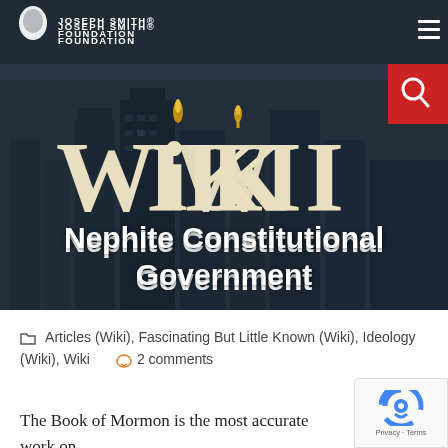[Figure (screenshot): Joseph Smith Foundation website header with city skyline background, logo with silhouette, navigation bar with hamburger menu, red search button, large WIKI text, and page title 'Nephite Constitutional Government']
Joseph Smith Foundation
Nephite Constitutional Government
Articles (Wiki), Fascinating But Little Known (Wiki), Ideology (Wiki), Wiki   2 comments
The Book of Mormon is the most accurate work on